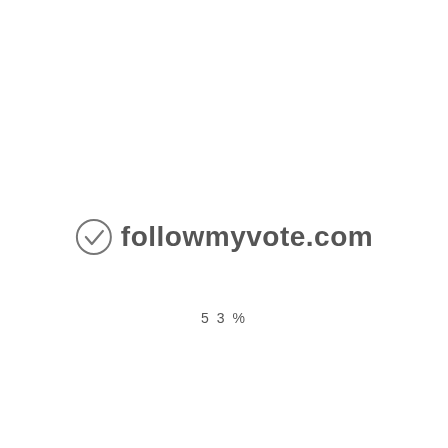[Figure (logo): followmyvote.com logo with a checkmark-in-circle icon on the left and the text 'followmyvote.com' in bold gray font]
53%